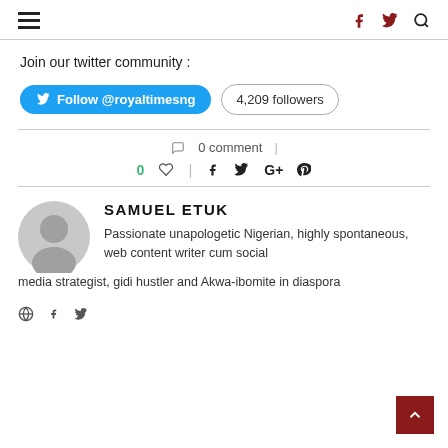Navigation and social icons header
Join our twitter community :
Follow @royaltimesng  4,209 followers
0 comment
0 ♡  f  twitter  G+  pinterest
SAMUEL ETUK
Passionate unapologetic Nigerian, highly spontaneous, web content writer cum social media strategist, gidi hustler and Akwa-ibomite in diaspora
globe icon  f  twitter